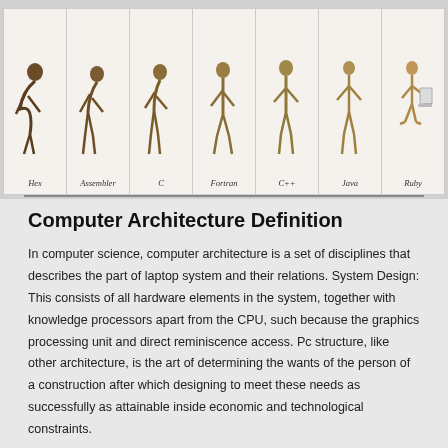[Figure (illustration): Evolution of programming languages illustrated as human evolution: figures progressing from hunched ape-like posture to upright sitting at a computer, labeled Hex, Assembler, C, Fortran, C++, Java, Ruby]
Computer Architecture Definition
In computer science, computer architecture is a set of disciplines that describes the part of laptop system and their relations. System Design: This consists of all hardware elements in the system, together with knowledge processors apart from the CPU, such because the graphics processing unit and direct reminiscence access. Pc structure, like other architecture, is the art of determining the wants of the person of a construction after which designing to meet these needs as successfully as attainable inside economic and technological constraints.
It refers to operational unit and their interconnection that understand the structure specification The structure design of a pc